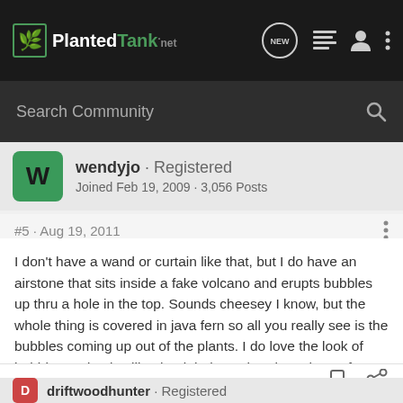PlantedTank.net
Search Community
wendyjo · Registered
Joined Feb 19, 2009 · 3,056 Posts
#5 · Aug 19, 2011
I don't have a wand or curtain like that, but I do have an airstone that sits inside a fake volcano and erupts bubbles up thru a hole in the top. Sounds cheesey I know, but the whole thing is covered in java fern so all you really see is the bubbles coming up out of the plants. I do love the look of bubbles and I also like that it helps to break up the surface of the water.
driftwoodhunter · Registered